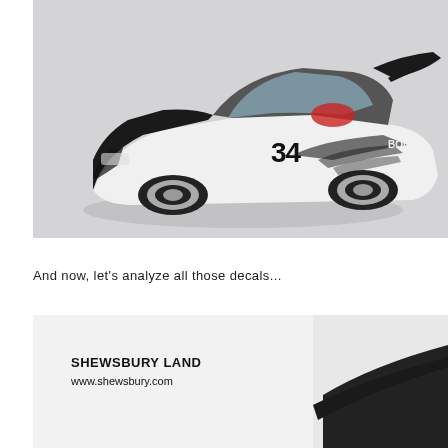[Figure (photo): A die-cast toy/model car, white and black, numbered 34, with racing decals and a large rear spoiler, photographed on a light grey background.]
And now, let's analyze all those decals...
[Figure (photo): Close-up photo of the white model car body showing SHEWSBURY LAND and www.shewsbury.com decal text overlay, with a dark wing/spoiler visible at bottom right.]